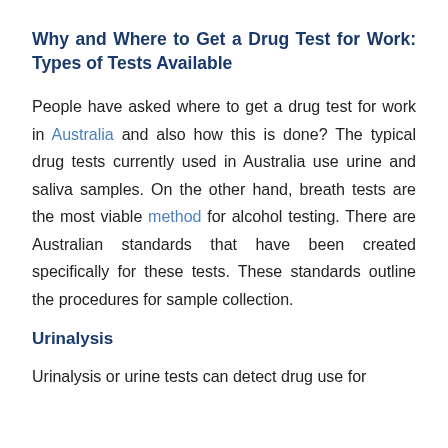Why and Where to Get a Drug Test for Work: Types of Tests Available
People have asked where to get a drug test for work in Australia and also how this is done? The typical drug tests currently used in Australia use urine and saliva samples. On the other hand, breath tests are the most viable method for alcohol testing. There are Australian standards that have been created specifically for these tests. These standards outline the procedures for sample collection.
Urinalysis
Urinalysis or urine tests can detect drug use for